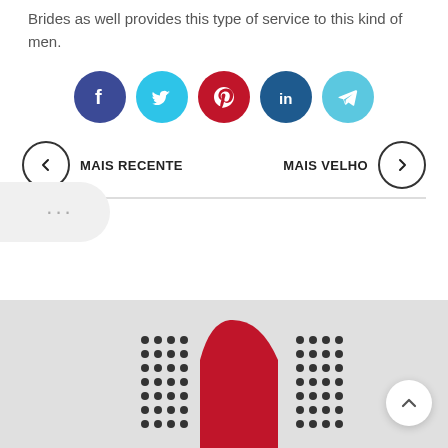Brides as well provides this type of service to this kind of men.
[Figure (infographic): Row of five social media share buttons: Facebook (dark blue), Twitter (cyan), Pinterest (red), LinkedIn (dark blue), Telegram (light blue)]
··· (more options bubble on left side)
< MAIS RECENTE    MAIS VELHO >
[Figure (logo): Partial website footer with logo featuring red shape and black dot patterns on grey background, with a back-to-top chevron button]